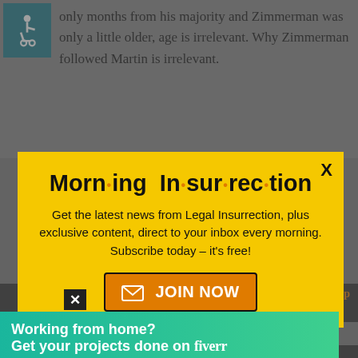only months from his majority and Zimmerman was only a little older, age is irrelevant. Why Zimmerman followed Martin is irrelevant.
[Figure (screenshot): Morning Insurrection newsletter modal popup with yellow background, showing bold title 'Morn·ing In·sur·rec·tion', subscription text, and orange JOIN NOW button]
this case is the nature and length of the actual fight itself. And all
[Figure (screenshot): Fiverr advertisement banner in green/teal: 'Working from home? Get your projects done on fiverr']
account of the fight. In order to be